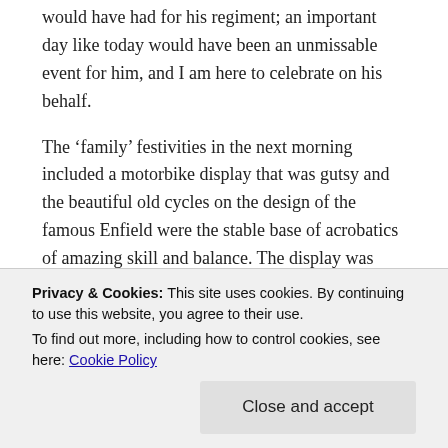would have had for his regiment; an important day like today would have been an unmissable event for him, and I am here to celebrate on his behalf.
The 'family' festivities in the next morning included a motorbike display that was gutsy and the beautiful old cycles on the design of the famous Enfield were the stable base of acrobatics of amazing skill and balance. The display was followed by time spent with the wives in the welfare centre. The beauty of these Indian ladies was more than skin deep; they were so welcoming, warm and pleased that we had come into
singing and a large rattle, the worry being that one
Privacy & Cookies: This site uses cookies. By continuing to use this website, you agree to their use.
To find out more, including how to control cookies, see here: Cookie Policy